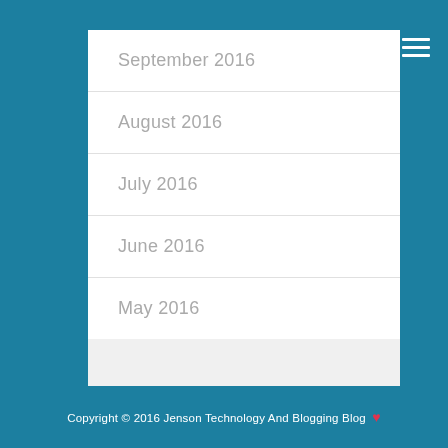September 2016
August 2016
July 2016
June 2016
May 2016
Copyright © 2016 Jenson Technology And Blogging Blog ♥